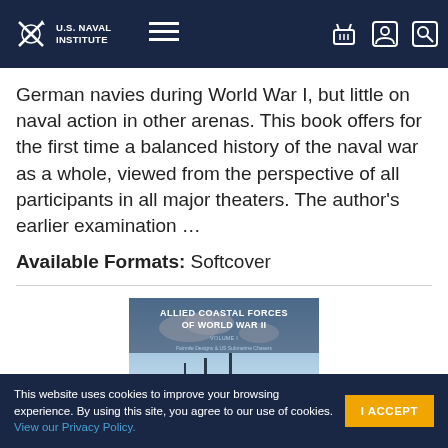U.S. Naval Institute
German navies during World War I, but little on naval action in other arenas. This book offers for the first time a balanced history of the naval war as a whole, viewed from the perspective of all participants in all major theaters. The author's earlier examination …
Available Formats: Softcover
[Figure (photo): Book cover: Allied Coastal Forces of World War II, Volume I: Fairmile Designs & US Submarine Chasers]
This website uses cookies to improve your browsing experience. By using this site, you agree to our use of cookies. View our Privacy Policy.